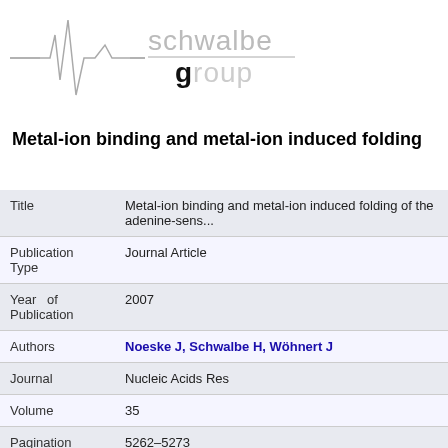[Figure (logo): Schwalbe Group logo with ECG-like waveform graphic and 'schwalbe group' text in light gray and black]
Metal-ion binding and metal-ion induced folding
| Title | Metal-ion binding and metal-ion induced folding of the adenine-sens... |
| Publication Type | Journal Article |
| Year of Publication | 2007 |
| Authors | Noeske J, Schwalbe H, Wöhnert J |
| Journal | Nucleic Acids Res |
| Volume | 35 |
| Pagination | 5262–5273 |